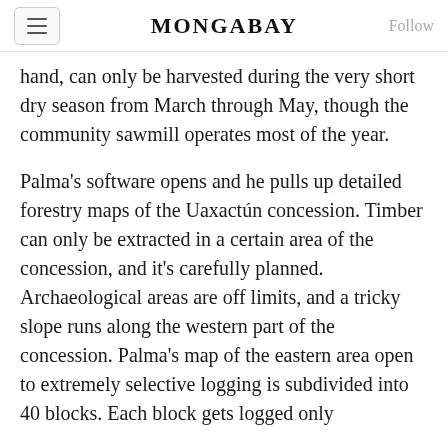MONGABAY
hand, can only be harvested during the very short dry season from March through May, though the community sawmill operates most of the year.
Palma's software opens and he pulls up detailed forestry maps of the Uaxactún concession. Timber can only be extracted in a certain area of the concession, and it's carefully planned. Archaeological areas are off limits, and a tricky slope runs along the western part of the concession. Palma's map of the eastern area open to extremely selective logging is subdivided into 40 blocks. Each block gets logged only